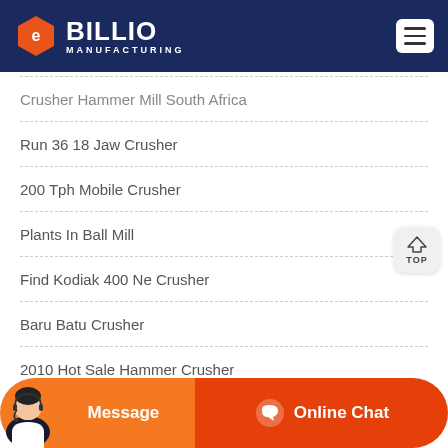BILLIO MANUFACTURING
Crusher Hammer Mill South Africa
Run 36 18 Jaw Crusher
200 Tph Mobile Crusher
Plants In Ball Mill
Find Kodiak 400 Ne Crusher
Baru Batu Crusher
2010 Hot Sale Hammer Crusher
Message   Online Chat